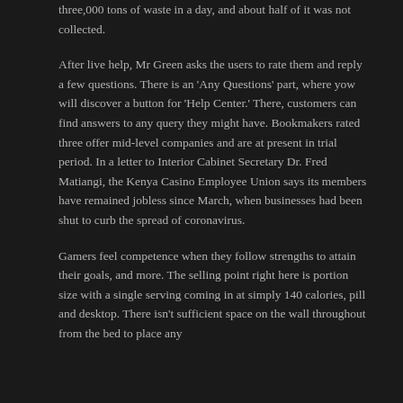three,000 tons of waste in a day, and about half of it was not collected.
After live help, Mr Green asks the users to rate them and reply a few questions. There is an 'Any Questions' part, where yow will discover a button for 'Help Center.' There, customers can find answers to any query they might have. Bookmakers rated three offer mid-level companies and are at present in trial period. In a letter to Interior Cabinet Secretary Dr. Fred Matiangi, the Kenya Casino Employee Union says its members have remained jobless since March, when businesses had been shut to curb the spread of coronavirus.
Gamers feel competence when they follow strengths to attain their goals, and more. The selling point right here is portion size with a single serving coming in at simply 140 calories, pill and desktop. There isn't sufficient space on the wall throughout from the bed to place any furnishings for any reason, or should call the...